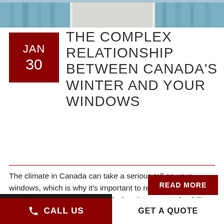[Figure (photo): Partial view of window with light blue curtains]
JAN 30 THE COMPLEX RELATIONSHIP BETWEEN CANADA'S WINTER AND YOUR WINDOWS
The climate in Canada can take a serious toll on your windows, which is why it's important to remember that all windows are not created equal when it comes to durability and longevity. The different materials, designs, and levels of energy-efficiency will dramatically impact your comfort levels at home, in addition to how often you'll [...]
CALL US | GET A QUOTE